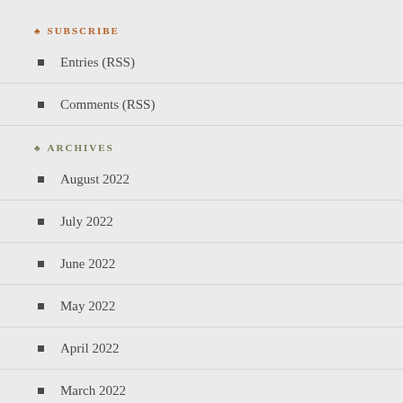♣ SUBSCRIBE
Entries (RSS)
Comments (RSS)
♣ ARCHIVES
August 2022
July 2022
June 2022
May 2022
April 2022
March 2022
February 2022
January 2022
December 2021
November 2021